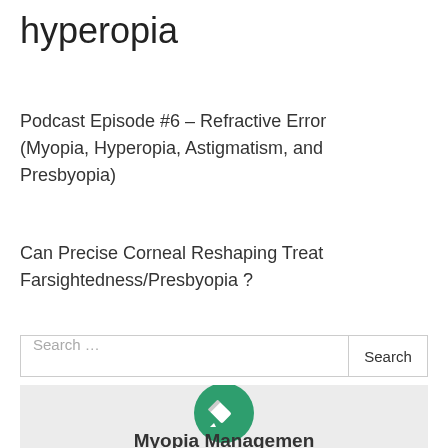hyperopia
Podcast Episode #6 – Refractive Error (Myopia, Hyperopia, Astigmatism, and Presbyopia)
Can Precise Corneal Reshaping Treat Farsightedness/Presbyopia ?
Search …
[Figure (illustration): Green circle icon with a pencil/edit symbol inside, above partially visible text 'Myopia Management']